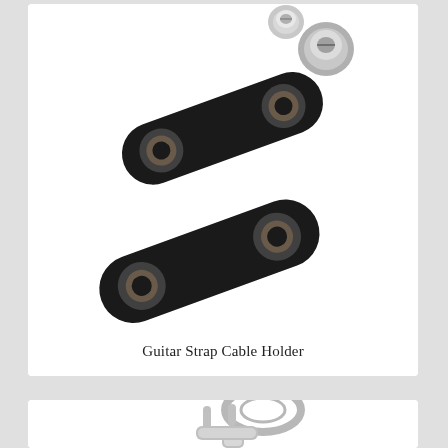[Figure (photo): Guitar strap cable holder product photo showing two black elongated leather/rubber pads with holes and two silver metal screw-lock strap buttons, arranged diagonally on a white background.]
Guitar Strap Cable Holder
[Figure (photo): Partial view of a silver metal guitar string winder / strap lock tool on a white background, cropped at the bottom of the page.]